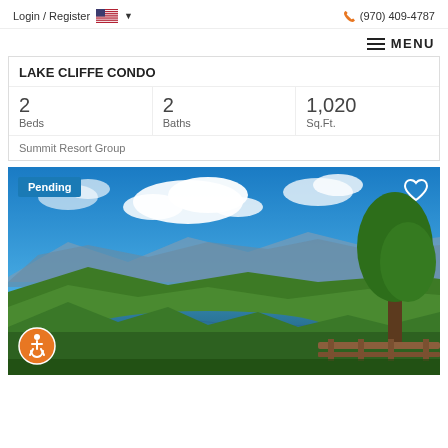Login / Register  🇺🇸 ▾   (970) 409-4787
≡ MENU
LAKE CLIFFE CONDO
| Beds | Baths | Sq.Ft. |
| --- | --- | --- |
| 2 | 2 | 1,020 |
Summit Resort Group
[Figure (photo): Aerial scenic landscape photo showing a blue mountain lake surrounded by green forested hills and mountains in the background under a partly cloudy blue sky. A wooden railing and tree visible in the foreground right. A 'Pending' badge in the top left, a heart icon in the top right, and an accessibility icon in the bottom left.]